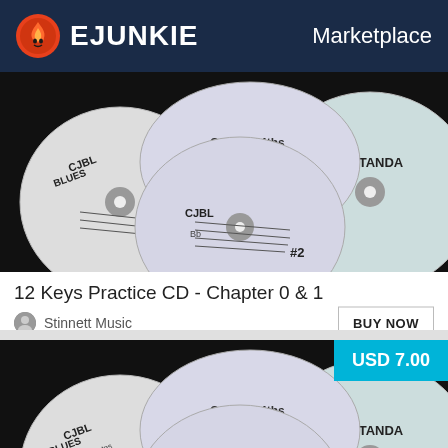EJUNKIE  Marketplace
[Figure (photo): Multiple music practice CDs fanned out on black background, showing labels: CJBL Blues, Cycle of 4ths, STANDARD, #2]
12 Keys Practice CD - Chapter 0 & 1
Stinnett Music
[Figure (photo): Multiple music practice CDs fanned out on black background, showing labels: CJBL Blues, Cycle of 4ths, STANDARD, #2]
USD 7.00
12 Keys Practice CD - Chapter 2 & 3
Stinnett Music